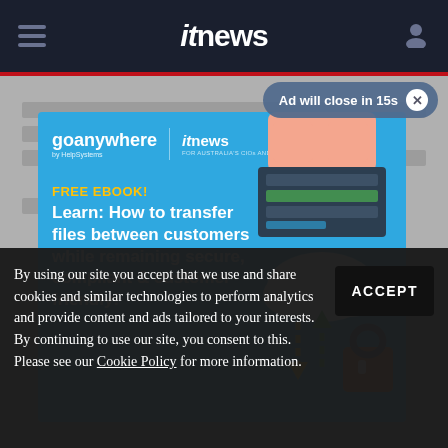itnews
[Figure (screenshot): Advertisement for GoAnywhere by HelpSystems and ITnews. Blue background with illustration of file transfer between server, cloud, and padlock. Text: FREE EBOOK! Learn: How to transfer files between customers while remaining secure, compliant & customer friendly!]
Ad will close in 15s
By using our site you accept that we use and share cookies and similar technologies to perform analytics and provide content and ads tailored to your interests. By continuing to use our site, you consent to this. Please see our Cookie Policy for more information.